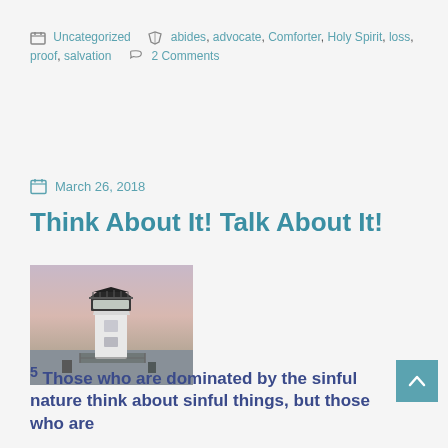Uncategorized   abides, advocate, Comforter, Holy Spirit, loss, proof, salvation   2 Comments
March 26, 2018
Think About It! Talk About It!
[Figure (photo): A white lighthouse photographed at dusk with a pinkish-purple sky in the background, situated near water.]
5 Those who are dominated by the sinful nature think about sinful things, but those who are